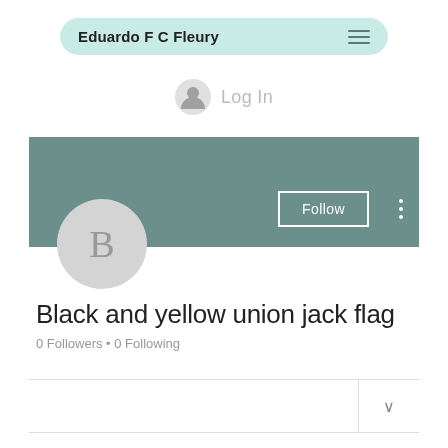Eduardo F C Fleury
Log In
[Figure (screenshot): User profile page with teal banner, avatar circle with letter B, Follow button, and three-dot menu]
Black and yellow union jack flag
0 Followers • 0 Following
Profile